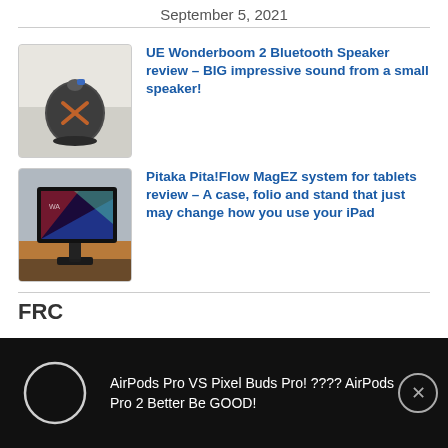September 5, 2021
[Figure (photo): UE Wonderboom 2 Bluetooth speaker thumbnail image]
UE Wonderboom 2 Bluetooth Speaker review – BIG impressive sound from a small speaker!
[Figure (photo): Pitaka PitaFlow MagEZ tablet stand system thumbnail image]
Pitaka Pita!Flow MagEZ system for tablets review – A case, folio and stand that just may change how you use your iPad
FRC
AirPods Pro VS Pixel Buds Pro! ???? AirPods Pro 2 Better Be GOOD!